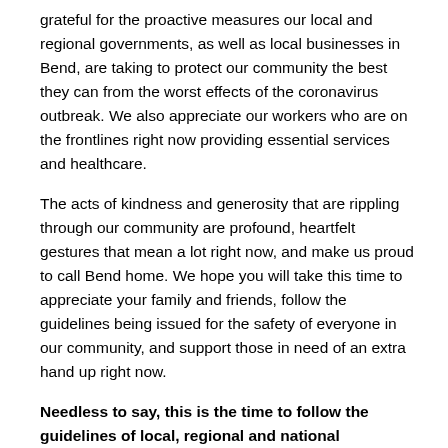grateful for the proactive measures our local and regional governments, as well as local businesses in Bend, are taking to protect our community the best they can from the worst effects of the coronavirus outbreak. We also appreciate our workers who are on the frontlines right now providing essential services and healthcare.
The acts of kindness and generosity that are rippling through our community are profound, heartfelt gestures that mean a lot right now, and make us proud to call Bend home. We hope you will take this time to appreciate your family and friends, follow the guidelines being issued for the safety of everyone in our community, and support those in need of an extra hand up right now.
Needless to say, this is the time to follow the guidelines of local, regional and national governmental and healthcare agencies regarding hygiene and the “Stay Home, Save Lives” order.